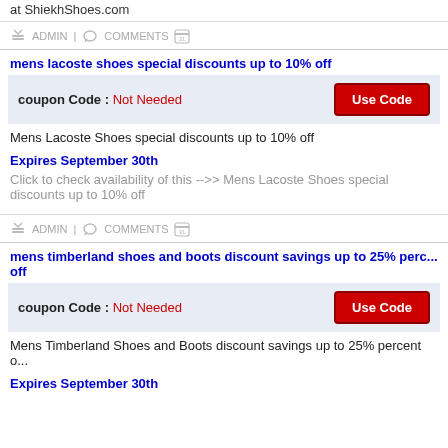at ShiekhShoes.com
ADMIN | COMMENTS
mens lacoste shoes special discounts up to 10% off
coupon Code : Not Needed  [Use Code]
Mens Lacoste Shoes special discounts up to 10% off
Expires September 30th
Click to check availability of this -->> Mens Lacoste Shoes special discounts up to 10% off
ADMIN | COMMENTS
mens timberland shoes and boots discount savings up to 25% perc... off
coupon Code : Not Needed  [Use Code]
Mens Timberland Shoes and Boots discount savings up to 25% percent o...
Expires September 30th